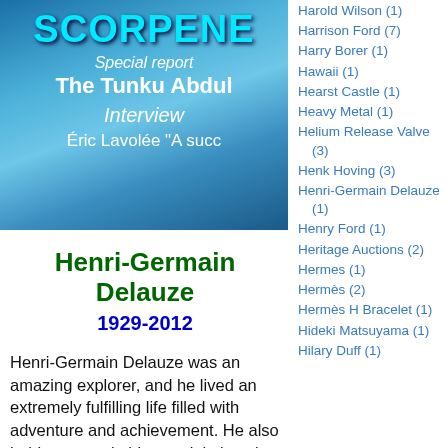[Figure (illustration): Book or magazine cover with blue ocean/submarine background. Title 'SCORPENE' in large cyan text, subtitle 'Special report', 'The Tunku Abdul', 'Interview', 'Éric Lavolée "A succ']
Henri-Germain Delauze
1929-2012
Henri-Germain Delauze was an amazing explorer, and he lived an extremely fulfilling life filled with adventure and achievement. He also holds a remarkable special place in Rolex DEEP-SEA diving history, and
Harold Wilson (1)
Harrison Ford (7)
Harry Borer (1)
Hawaii (1)
Hearst Castle (1)
Heavy Metal (1)
Helium Release Valve (3)
Henk Hoving (3)
Henri-Germain Delauze (1)
Henry Ford (1)
Heritage Auctions (2)
Hermes (1)
Hermès (2)
Hermès H Bracelet (1)
Hideki Matsuyama (1)
Hilary Duff (1)